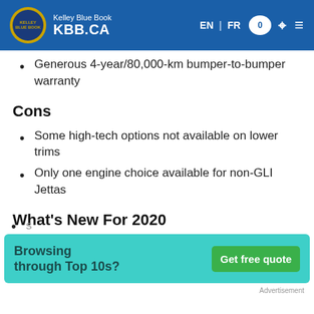Kelley Blue Book KBB.CA | EN | FR
Generous 4-year/80,000-km bumper-to-bumper warranty
Cons
Some high-tech options not available on lower trims
Only one engine choice available for non-GLI Jettas
What's New For 2020
Every new Jetta receives App-Connect smartphone integration (Android Auto, Apple CarPlay, MirrorLink)
[Figure (infographic): Advertisement banner: 'Browsing through Top 10s?' with green 'Get free quote' button on teal background]
Advertisement